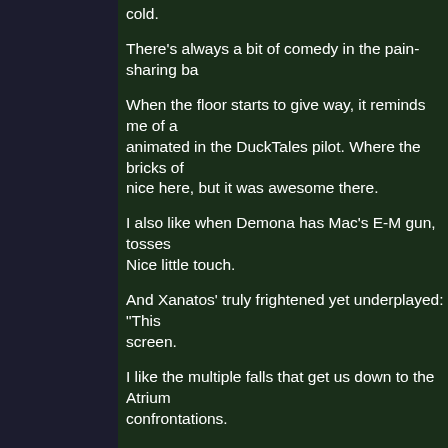cold.
There's always a bit of comedy in the pain-sharing ba
When the floor starts to give way, it reminds me of a animated in the DuckTales pilot. Where the bricks of nice here, but it was awesome there.
I also like when Demona has Mac's E-M gun, tosses Nice little touch.
And Xanatos' truly frightened yet underplayed: "This screen.
I like the multiple falls that get us down to the Atrium confrontations.
And Goliath's speech: "...Death never does."
Again we get multiple images of the Sisters througho fight for that.
Each Sister gets to take a mental punch to weaken fi they being hypocrites here? One aspect of their pers going on, some of which I still haven't revealed.